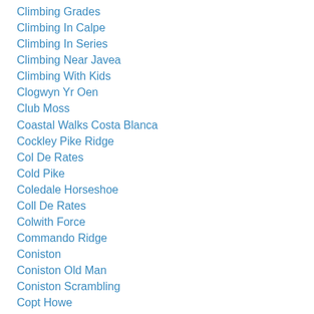Climbing Grades
Climbing In Calpe
Climbing In Series
Climbing Near Javea
Climbing With Kids
Clogwyn Yr Oen
Club Moss
Coastal Walks Costa Blanca
Cockley Pike Ridge
Col De Rates
Cold Pike
Coledale Horseshoe
Coll De Rates
Colwith Force
Commando Ridge
Coniston
Coniston Old Man
Coniston Scrambling
Copt Howe
Cornwall Climbing